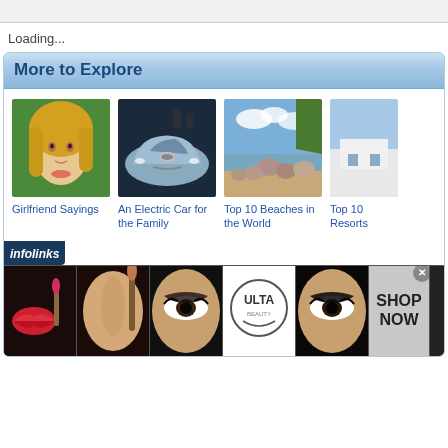Loading...
More to Explore
[Figure (photo): Portrait of a blonde young woman outdoors on green background]
Girlfriend Sayings
[Figure (photo): Front view of a silver Nissan Leaf electric car at an auto show]
An Electric Car for the Family
[Figure (photo): Tropical beach with large boulders, clear water and trees]
Top 10 Beaches in the World
[Figure (photo): Partially visible image — Top 10 Resorts]
Top 10 Resorts
[Figure (photo): Infolinks advertisement banner showing makeup and cosmetics imagery with ULTA Beauty logo and SHOP NOW text]
infolinks